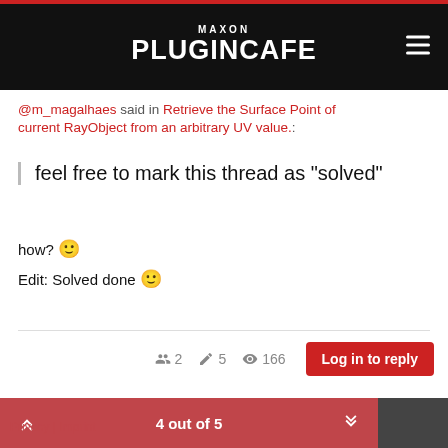MAXON PLUGINCAFE
@m_magalhaes said in Retrieve the Surface Point of current RayObject from an arbitrary UV value.:
feel free to mark this thread as "solved"
how? 🙂
Edit: Solved done 🙂
4 out of 5 | Privacy | Imprint | 2 posters | 5 posts | 166 views | Log in to reply